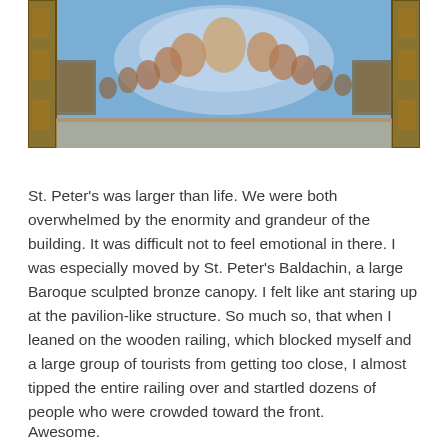[Figure (photo): Upward view of an ornate painted ceiling, showing Michelangelo's The Last Judgment style fresco with figures in a blue sky with clouds, set in an elaborate gilded architectural frame — appears to be the Sistine Chapel or similar Vatican interior.]
St. Peter's was larger than life. We were both overwhelmed by the enormity and grandeur of the building. It was difficult not to feel emotional in there. I was especially moved by St. Peter's Baldachin, a large Baroque sculpted bronze canopy. I felt like ant staring up at the pavilion-like structure. So much so, that when I leaned on the wooden railing, which blocked myself and a large group of tourists from getting too close, I almost tipped the entire railing over and startled dozens of people who were crowded toward the front.
Awesome.